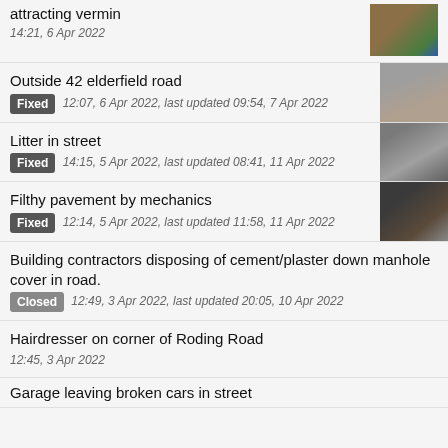attracting vermin
14:21, 6 Apr 2022
Outside 42 elderfield road
Fixed 12:07, 6 Apr 2022, last updated 09:54, 7 Apr 2022
Litter in street
Fixed 14:15, 5 Apr 2022, last updated 08:41, 11 Apr 2022
Filthy pavement by mechanics
Fixed 12:14, 5 Apr 2022, last updated 11:58, 11 Apr 2022
Building contractors disposing of cement/plaster down manhole cover in road.
Closed 12:49, 3 Apr 2022, last updated 20:05, 10 Apr 2022
Hairdresser on corner of Roding Road
12:45, 3 Apr 2022
Garage leaving broken cars in street